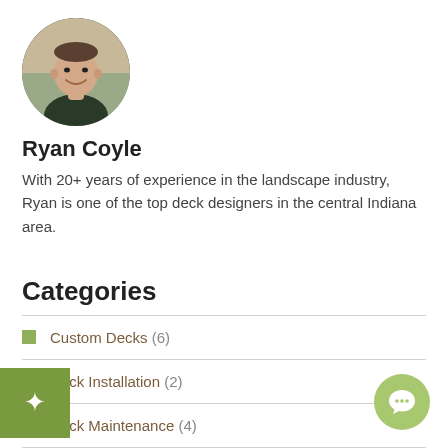[Figure (photo): Circular profile photo of Ryan Coyle, a man in a dark shirt, smiling outdoors]
Ryan Coyle
With 20+ years of experience in the landscape industry, Ryan is one of the top deck designers in the central Indiana area.
Categories
Custom Decks (6)
Deck Installation (2)
Deck Maintenance (4)
Outdoor Kitchens (2)